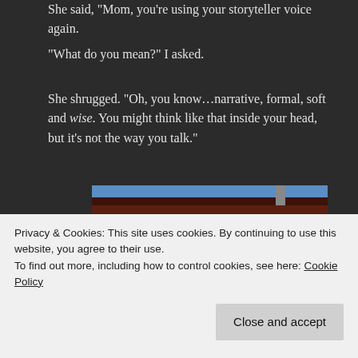She said, “Mom, you’re using your storyteller voice again.
“What do you mean?” I asked.
She shrugged. “Oh, you know…narrative, formal, soft and wise. You might think like that inside your head, but it’s not the way you talk.”
[Figure (photo): A motel sign reading 'VERY QUIET MOTEL' in large chrome letters on a dark maroon background, photographed against a blue sky.]
Privacy & Cookies: This site uses cookies. By continuing to use this website, you agree to their use.
To find out more, including how to control cookies, see here: Cookie Policy